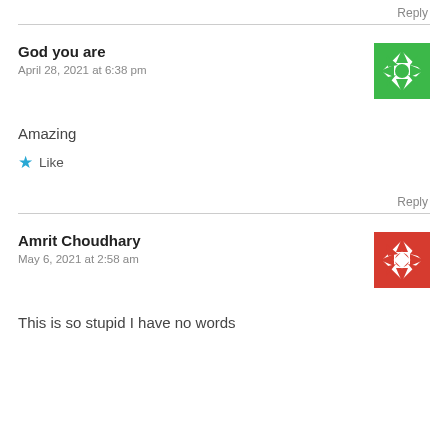Reply
God you are
April 28, 2021 at 6:38 pm
[Figure (illustration): Green decorative avatar icon with geometric star/snowflake pattern]
Amazing
★ Like
Reply
Amrit Choudhary
May 6, 2021 at 2:58 am
[Figure (illustration): Red decorative avatar icon with geometric star/snowflake pattern]
This is so stupid I have no words